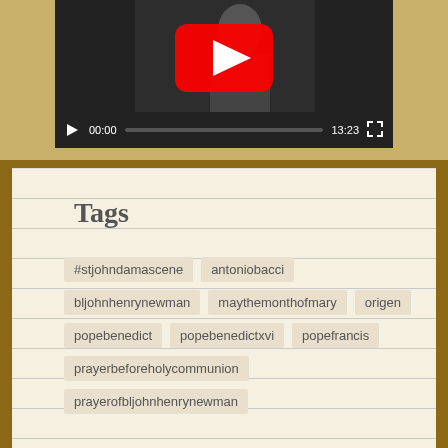[Figure (screenshot): YouTube video player embedded in webpage showing video thumbnail with play button, progress bar showing 00:00 current time and 13:23 total duration]
Tags
#stjohndamascene
antoniobacci
bljohnhenrynewman
maythemonthofmary
origen
popebenedict
popebenedictxvi
popefrancis
prayerbeforeholycommunion
prayerofbljohnhenrynewman